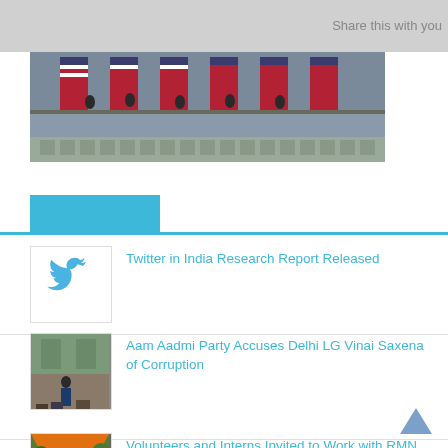Share this with you
[Figure (photo): Photo of a government building facade with American flags and people on balconies]
[Figure (other): Blue tab section header with blue horizontal rule]
[Figure (logo): Twitter bird logo in blue]
Twitter in India Research Report Released
[Figure (photo): Photo of people at an outdoor gathering or meeting]
Aam Aadmi Party Accuses Delhi LG Vinai Saxena of Corruption
[Figure (photo): Photo of people at an outdoor event with orange tent/canopy]
Volunteers and Interns Invited to Work with RMN Foundation